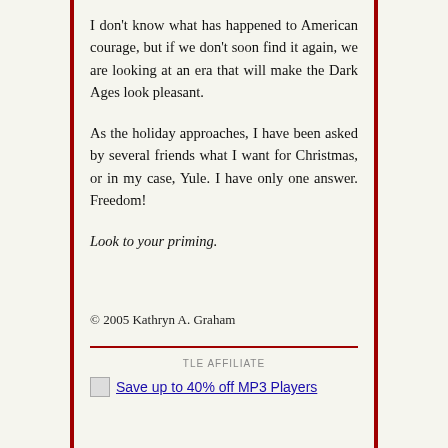I don't know what has happened to American courage, but if we don't soon find it again, we are looking at an era that will make the Dark Ages look pleasant.
As the holiday approaches, I have been asked by several friends what I want for Christmas, or in my case, Yule. I have only one answer. Freedom!
Look to your priming.
© 2005 Kathryn A. Graham
TLE AFFILIATE
Save up to 40% off MP3 Players